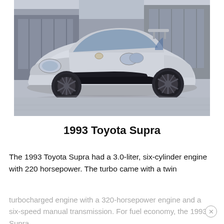[Figure (photo): Silver 1993 Toyota Supra sports car parked on a concrete surface in front of industrial hangar buildings. The car faces slightly toward the viewer showing the front-left angle, with dark alloy wheels and a small license plate visible.]
1993 Toyota Supra
The 1993 Toyota Supra had a 3.0-liter, six-cylinder engine with 220 horsepower. The turbo came with a twin
turbocharged engine with a 320-horsepower engine and a six-speed manual transmission. For fuel economy, the 1993 Supra